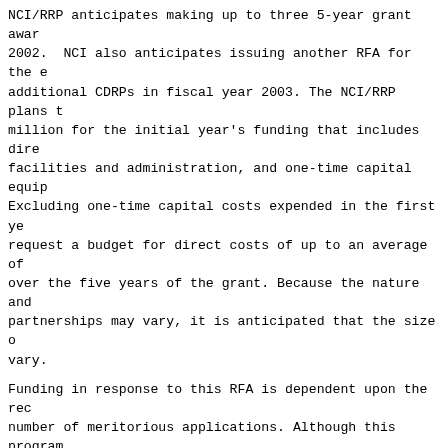NCI/RRP anticipates making up to three 5-year grant awards in fiscal year 2002. NCI also anticipates issuing another RFA for the establishment of additional CDRPs in fiscal year 2003. The NCI/RRP plans to set aside up to $7 million for the initial year's funding that includes direct costs, facilities and administration, and one-time capital equipment costs. Excluding one-time capital costs expended in the first year, CDRPs may request a budget for direct costs of up to an average of $1 million per year over the five years of the grant. Because the nature and scope of the partnerships may vary, it is anticipated that the size of the awards will vary.
Funding in response to this RFA is dependent upon the receipt of a sufficient number of meritorious applications. Although this program is included in the financial plans of NCI/RRP, the award of grants pursuant to this RFA is contingent upon the anticipated availability of funds for this program. Awards are not renewable. The NCI/RRP will make a commitment for continued support of a partnership for the full term of the award. Because the nature and scope of the research proposed in response to this RFA may vary, it is anticipated that the sizes of awards will vary also.
The total project period for applications submitted in response to this RFA may not exceed five years. The anticipated award date is September 30, 2002.
ELIGIBILITY REQUIREMENTS
Applications will only be accepted from health care institutions accredited by the Joint Commission on Accreditation of Health Organizations located in the United States or in territories under U.S. jurisdiction, AND that have a Commitment from potential partners that are NCI-designated Cancer Centers, RTOG participating institutions or other NCI-sponsored cooperative groups.